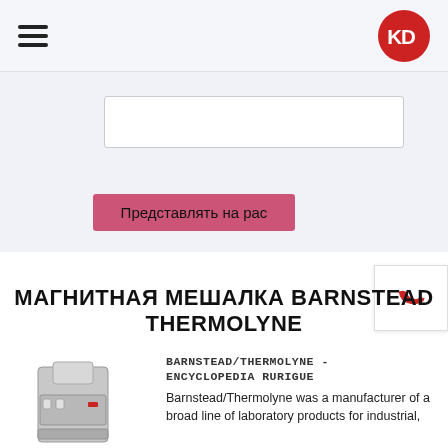KD logo and hamburger menu
[Figure (screenshot): Textarea input box in a light blue-grey form area]
[Figure (screenshot): Pink submit button labeled 'Представлять на рас']
[Figure (other): Phone icon button on right side]
МАГНИТНАЯ МЕШАЛКА BARNSTEAD THERMOLYNE
[Figure (photo): Photo of a Barnstead Thermolyne magnetic stirrer, a metallic laboratory device]
BARNSTEAD/THERMOLYNE - ENCYCLOPEDIA RURIGUE
Barnstead/Thermolyne was a manufacturer of a broad line of laboratory products for industrial,